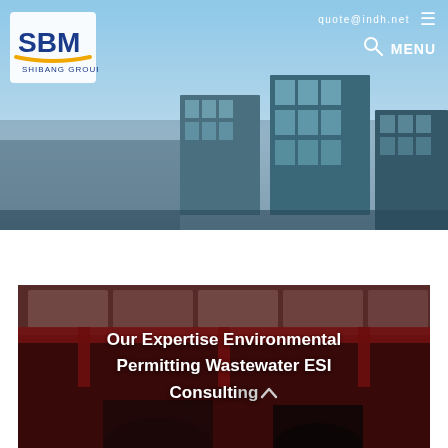[Figure (photo): Aerial/skyline view of modern glass office buildings under a blue sky, hero banner at top of webpage]
[Figure (logo): SBM Shibang Group logo — blue and yellow with stylized letters SBM and company name below]
quote@indh.net
≡
🔍 MENU
[Figure (photo): Interior industrial factory/warehouse with red overhead crane structure, dark reddish overlay]
Our Expertise Environmental Permitting Wastewater ESI Consulting